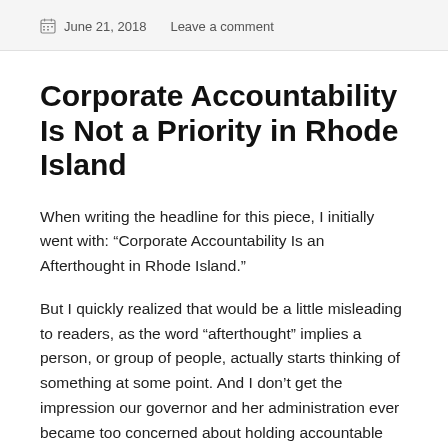June 21, 2018   Leave a comment
Corporate Accountability Is Not a Priority in Rhode Island
When writing the headline for this piece, I initially went with: “Corporate Accountability Is an Afterthought in Rhode Island.”
But I quickly realized that would be a little misleading to readers, as the word “afterthought” implies a person, or group of people, actually starts thinking of something at some point. And I don’t get the impression our governor and her administration ever became too concerned about holding accountable the corporations that have leaned on taxpayers for years.